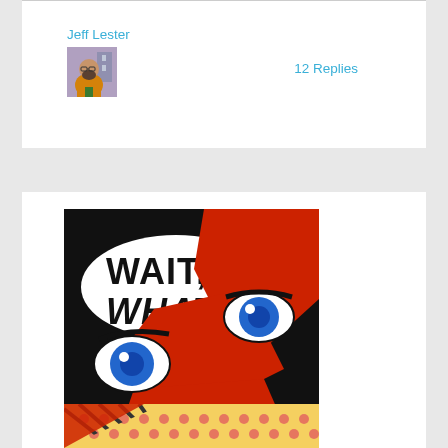Jeff Lester
12 Replies
[Figure (photo): Avatar photo of a bearded man in orange and green costume]
[Figure (illustration): Comic book style pop-art illustration showing two blue eyes peeking over a red arm/hand with a speech bubble reading 'WAIT, WHAT?' on a black and white/yellow dot background]